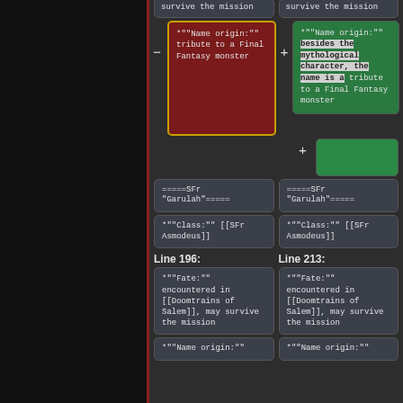survive the mission (top left card, clipped)
survive the mission (top right card, clipped)
*""Name origin:"" tribute to a Final Fantasy monster
*""Name origin:"" besides the mythological character, the name is a tribute to a Final Fantasy monster
(empty green card)
=====SFr "Garulah"=====
=====SFr "Garulah"=====
*""Class:"" [[SFr Asmodeus]]
*""Class:"" [[SFr Asmodeus]]
Line 196:
Line 213:
*""Fate:"" encountered in [[Doomtrains of Salem]], may survive the mission
*""Fate:"" encountered in [[Doomtrains of Salem]], may survive the mission
*""Name origin:"" (bottom left, clipped)
*""Name origin:"" (bottom right, clipped)